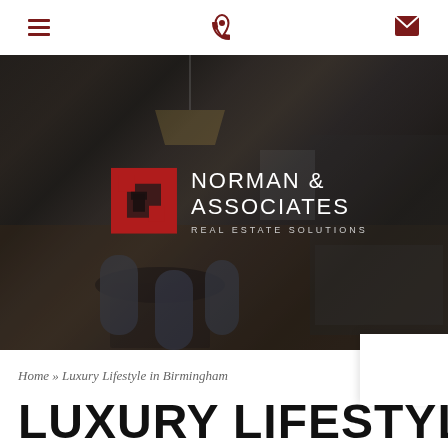[hamburger menu] [phone icon] [email/envelope icon]
[Figure (photo): Darkened interior photo of a luxury kitchen/dining area with pendant lights, dark wood dining table with modern chairs, kitchen island with bar stools, and dark cabinetry. Norman & Associates Real Estate Solutions logo overlaid in center.]
Home » Luxury Lifestyle in Birmingham
LUXURY LIFESTYLE